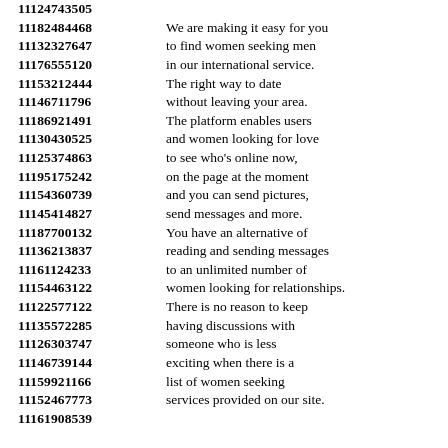11124743505
11182484468 We are making it easy for you 11132327647 to find women seeking men 11176555120 in our international service. 11153212444 The right way to date 11146711796 without leaving your area. 11186921491 The platform enables users 11130430525 and women looking for love 11125374863 to see who's online now, 11195175242 on the page at the moment 11154360739 and you can send pictures, 11145414827 send messages and more. 11187700132 You have an alternative of 11136213837 reading and sending messages 11161124233 to an unlimited number of 11154463122 women looking for relationships. 11122577122 There is no reason to keep 11135572285 having discussions with 11126303747 someone who is less 11146739144 exciting when there is a 11159921166 list of women seeking 11152467773 services provided on our site. 11161908539